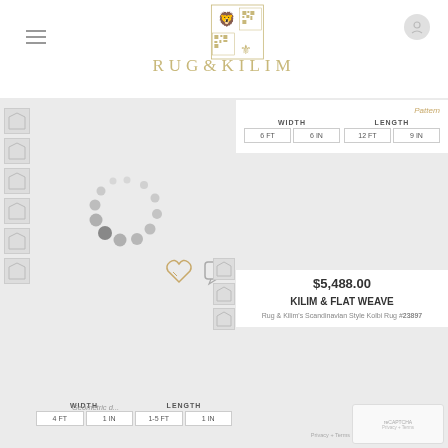[Figure (logo): Rug & Kilim logo with lion emblem, QR code, fleur-de-lis icons and brand name in gold lettering]
Pattern
WIDTH  LENGTH
6 FT  6 IN  12 FT  9 IN
[Figure (other): Loading spinner animation dots in circular pattern]
[Figure (other): Wishlist heart icon and chat/comment icon]
$5,488.00
KILIM & FLAT WEAVE
Rug & Kilim's Scandinavian Style Kolbi Rug 23897
WIDTH  LENGTH
4 FT  1 IN  1-5 FT  1 IN
Geometric d...
[Figure (other): reCAPTCHA widget]
Privacy + Terms